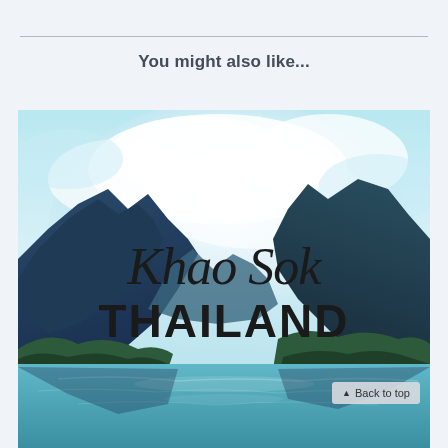You might also like...
[Figure (illustration): Travel destination image for Khao Sok, Thailand. Shows a scenic lake surrounded by dramatic limestone karst mountains with lush green forest, set against a backdrop of blue sky with white clouds. Text overlay reads 'Khao Sok' in italic cursive script and 'THAILAND' in bold sans-serif. A 'Back to top' button appears in the lower right corner.]